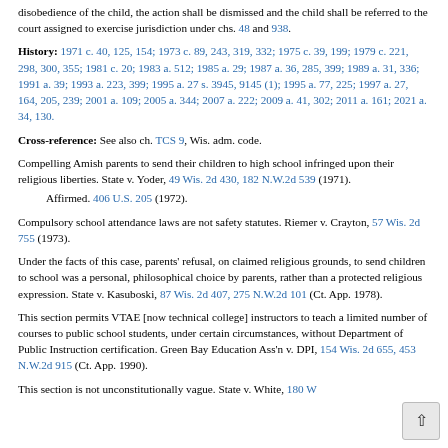disobedience of the child, the action shall be dismissed and the child shall be referred to the court assigned to exercise jurisdiction under chs. 48 and 938.
History: 1971 c. 40, 125, 154; 1973 c. 89, 243, 319, 332; 1975 c. 39, 199; 1979 c. 221, 298, 300, 355; 1981 c. 20; 1983 a. 512; 1985 a. 29; 1987 a. 36, 285, 399; 1989 a. 31, 336; 1991 a. 39; 1993 a. 223, 399; 1995 a. 27 s. 3945, 9145 (1); 1995 a. 77, 225; 1997 a. 27, 164, 205, 239; 2001 a. 109; 2005 a. 344; 2007 a. 222; 2009 a. 41, 302; 2011 a. 161; 2021 a. 34, 130.
Cross-reference: See also ch. TCS 9, Wis. adm. code.
Compelling Amish parents to send their children to high school infringed upon their religious liberties. State v. Yoder, 49 Wis. 2d 430, 182 N.W.2d 539 (1971).
Affirmed. 406 U.S. 205 (1972).
Compulsory school attendance laws are not safety statutes. Riemer v. Crayton, 57 Wis. 2d 755 (1973).
Under the facts of this case, parents' refusal, on claimed religious grounds, to send children to school was a personal, philosophical choice by parents, rather than a protected religious expression. State v. Kasuboski, 87 Wis. 2d 407, 275 N.W.2d 101 (Ct. App. 1978).
This section permits VTAE [now technical college] instructors to teach a limited number of courses to public school students, under certain circumstances, without Department of Public Instruction certification. Green Bay Education Ass'n v. DPI, 154 Wis. 2d 655, 453 N.W.2d 915 (Ct. App. 1990).
This section is not unconstitutionally vague. State v. White, 180 Wis. 2d 203, 509 N.W.2d 434 (Ct. App. 1993).